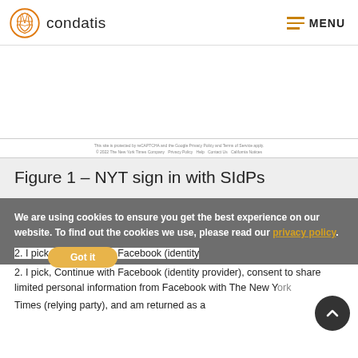condatis | MENU
[Figure (screenshot): Screenshot of NYT sign-in page showing social identity providers]
Figure 1 – NYT sign in with SIdPs
We are using cookies to ensure you get the best experience on our website. To find out the cookies we use, please read our privacy policy.
2. I pick, Continue with Facebook (identity provider), consent to share limited personal information from Facebook with The New York Times (relying party), and am returned as a
Got it